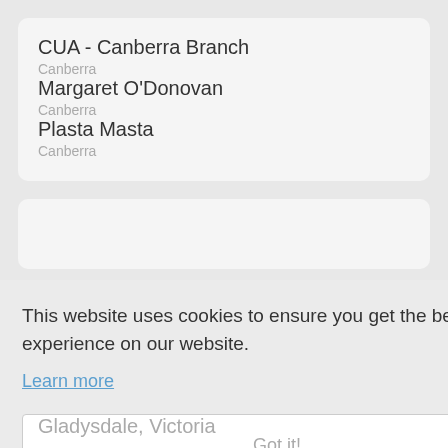CUA - Canberra Branch
Canberra
Margaret O'Donovan
Canberra
Plasta Masta
Canberra
This website uses cookies to ensure you get the best experience on our website.
Learn more
Got it!
Gladysdale, Victoria